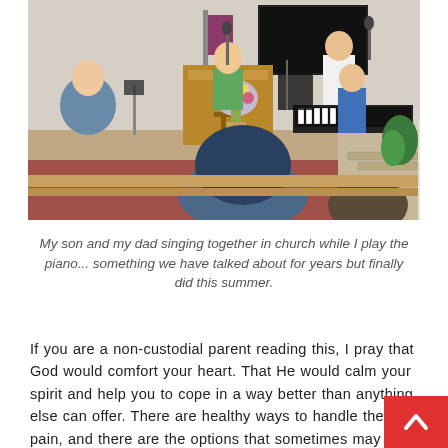[Figure (photo): A church scene showing people on a stage. A teenage boy in a green shirt speaks or sings into a microphone at a wooden pulpit. An older man in a white shirt stands at a second microphone. A woman in a blue top sits at a keyboard/piano on the right. Another woman sits on the left. A person is seen from behind in the foreground, seated in a pew. Flowers are visible near the pulpit and a cross is on the front of the pulpit.]
My son and my dad singing together in church while I play the piano... something we have talked about for years but finally did this summer.
If you are a non-custodial parent reading this, I pray that God would comfort your heart. That He would calm your spirit and help you to cope in a way better than anything else can offer. There are healthy ways to handle the pain, and there are the options that sometimes may